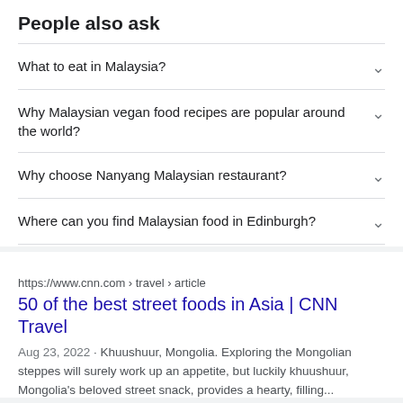People also ask
What to eat in Malaysia?
Why Malaysian vegan food recipes are popular around the world?
Why choose Nanyang Malaysian restaurant?
Where can you find Malaysian food in Edinburgh?
https://www.cnn.com › travel › article
50 of the best street foods in Asia | CNN Travel
Aug 23, 2022 · Khuushuur, Mongolia. Exploring the Mongolian steppes will surely work up an appetite, but luckily khuushuur, Mongolia's beloved street snack, provides a hearty, filling...